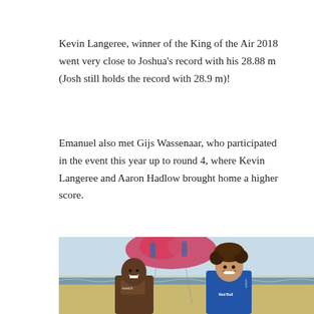Kevin Langeree, winner of the King of the Air 2018 went very close to Joshua's record with his 28.88 m (Josh still holds the record with 28.9 m)!
Emanuel also met Gijs Wassenaar, who participated in the event this year up to round 4, where Kevin Langeree and Aaron Hadlow brought home a higher score.
[Figure (photo): Two people smiling on a beach; one person with darker skin wearing a swatch-branded outfit, another with curly hair wearing a blue Red Bull rashguard. A pink/red kite is visible above them in the background sky.]